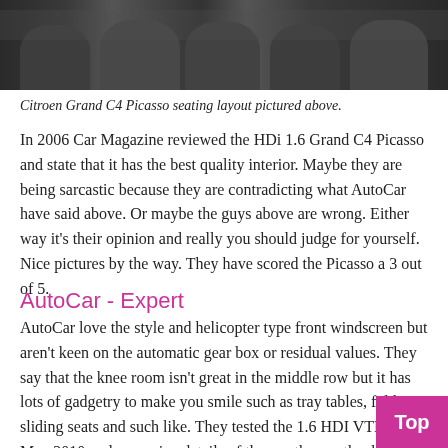[Figure (photo): Interior car seating photo showing Citroen Grand C4 Picasso seats in dark/black tones]
Citroen Grand C4 Picasso seating layout pictured above.
In 2006 Car Magazine reviewed the HDi 1.6 Grand C4 Picasso and state that it has the best quality interior. Maybe they are being sarcastic because they are contradicting what AutoCar have said above. Or maybe the guys above are wrong. Either way it’s their opinion and really you should judge for yourself. Nice pictures by the way. They have scored the Picasso a 3 out of 5.
AutoCar - Expert
AutoCar love the style and helicopter type front windscreen but aren’t keen on the automatic gear box or residual values. They say that the knee room isn’t great in the middle row but it has lots of gadgetry to make you smile such as tray tables, folding sliding seats and such like. They tested the 1.6 HDI VTR+ in May 2010 and even give details of the weather on the day. Now